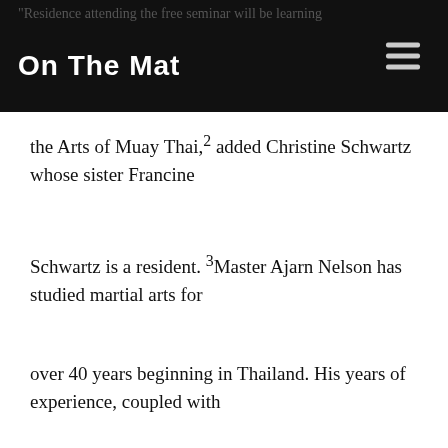On The Mat
the Arts of Muay Thai,² added Christine Schwartz whose sister Francine
Schwartz is a resident. ³Master Ajarn Nelson has studied martial arts for
over 40 years beginning in Thailand. His years of experience, coupled with
his involvement of being a trainer for many of the Professional Fighters and